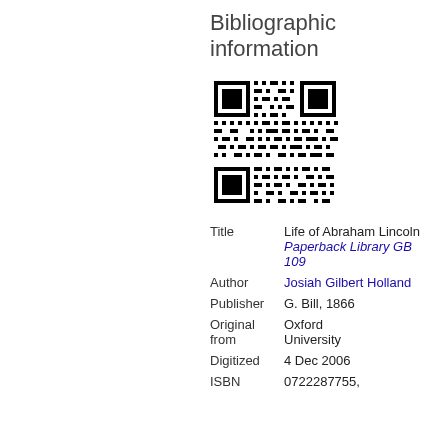Bibliographic information
[Figure (other): QR code for bibliographic information]
| Title | Life of Abraham Lincoln Paperback Library GB 109 |
| Author | Josiah Gilbert Holland |
| Publisher | G. Bill, 1866 |
| Original from | Oxford University |
| Digitized | 4 Dec 2006 |
| ISBN | 0722287755, |